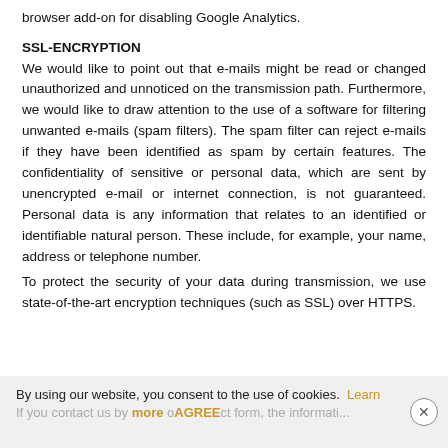browser add-on for disabling Google Analytics.
SSL-ENCRYPTION
We would like to point out that e-mails might be read or changed unauthorized and unnoticed on the transmission path. Furthermore, we would like to draw attention to the use of a software for filtering unwanted e-mails (spam filters). The spam filter can reject e-mails if they have been identified as spam by certain features. The confidentiality of sensitive or personal data, which are sent by unencrypted e-mail or internet connection, is not guaranteed. Personal data is any information that relates to an identified or identifiable natural person. These include, for example, your name, address or telephone number.
To protect the security of your data during transmission, we use state-of-the-art encryption techniques (such as SSL) over HTTPS.
By using our website, you consent to the use of cookies. Learn more AGREE
If you contact us by e-mail or contact form, the informati...